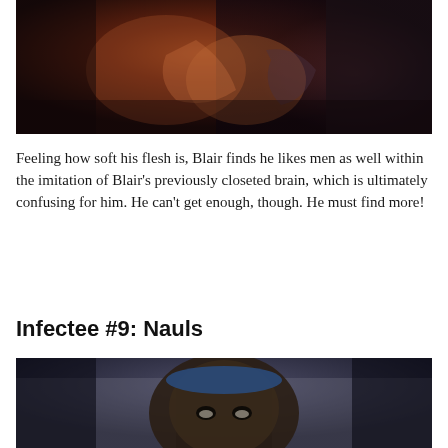[Figure (photo): Dark cinematic still showing two figures close together, one with hands near the other's face, dramatic low lighting with orange/red tones]
Feeling how soft his flesh is, Blair finds he likes men as well within the imitation of Blair's previously closeted brain, which is ultimately confusing for him. He can't get enough, though. He must find more!
Infectee #9: Nauls
[Figure (photo): Close-up of a man wearing a blue headband, looking upward, dark background with blue/grey tones]